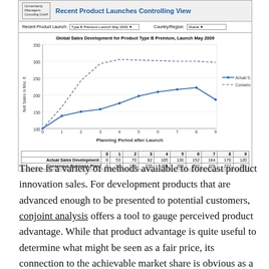[Figure (screenshot): Screenshot of a dashboard titled 'Recent Product Launches Controlling View' showing a line chart for 'Global Sales Development for Product Type B Premium, Launch May 2009' with two series: Actual Sales Development and Consensus Business Plan, plotted over Planning Periods 0-9, plus a data table below the chart.]
|  | 0 | 1 | 2 | 3 | 4 | 5 | 6 | 7 | 8 | 9 |
| --- | --- | --- | --- | --- | --- | --- | --- | --- | --- | --- |
| Actual Sales Development | 0 | 53 | 70 | 82 | 105 | 136 | 152 | 164 | 170 | 120 |
| Consensus Business Plan | 0 | 90 | 198 | 270 | 288 | 285 | 282 | 279 | 277 | 274 |
There is a variety of methods available to forecast product innovation sales. For development products that are advanced enough to be presented to potential customers, conjoint analysis offers a tool to gauge perceived product advantage. While that product advantage is quite useful to determine what might be seen as a fair price, its connection to the achievable market share is obvious as a fact but not trivial in numbers. The Dirichlet Model of